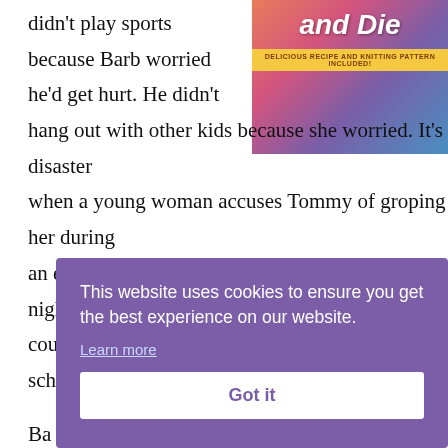[Figure (illustration): Book cover partially visible in top-right corner showing title 'and Die' with subtitle 'DELICIOUS RECIPE AND KNITTING PATTERN INCLUDED!' on a yellow banner, colorful background.]
didn't play sports because Barb worried he'd get hurt. He didn't hang out with other kids because she worried. It's a disaster when a young woman accuses Tommy of groping her during an exam at the urgent care clinic where he works at night. It could have a severe effect on his career–or get his sch[olarship revoked.] Ba[rb...] eve[n...] Pro[...] wo[...]
This website uses cookies to ensure you get the best experience on our website. Learn more Got it